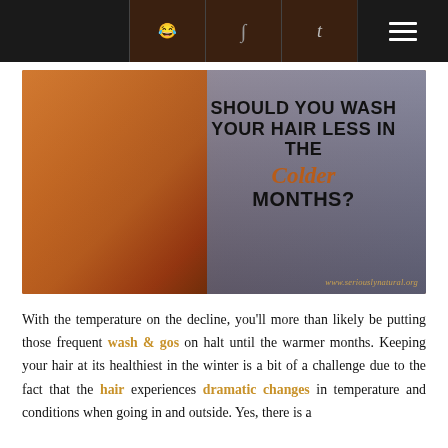Navigation bar with social icons and menu
[Figure (photo): Woman with natural curly hair wearing a red holiday sweater, holding a mug. Text overlay reads: SHOULD YOU WASH YOUR HAIR LESS IN THE Colder MONTHS? www.seriouslynatural.org]
With the temperature on the decline, you'll more than likely be putting those frequent wash & gos on halt until the warmer months. Keeping your hair at its healthiest in the winter is a bit of a challenge due to the fact that the hair experiences dramatic changes in temperature and conditions when going in and outside. Yes, there is a